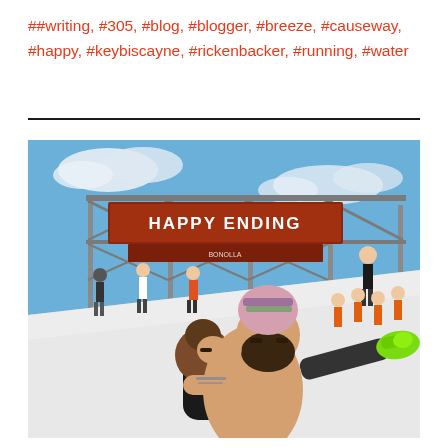##writing, #305, #blog, #blogger, #breeze, #causeway, #happy, #keybiscayne, #rickenbacker, #running, #water
[Figure (photo): Outdoor obstacle race finish area with a 'HAPPY ENDING' banner on a scaffolding structure. Participants in athletic gear climb and assist each other on a large white inclined wall. In the foreground, a bearded man wearing a colorful beanie and no shirt embraces and kisses a woman wearing a pink headband. The woman's legs are lifted, and she wears bright green Nike shoes. Other racers in orange and dark clothing are visible in the background under a blue sky with clouds.]